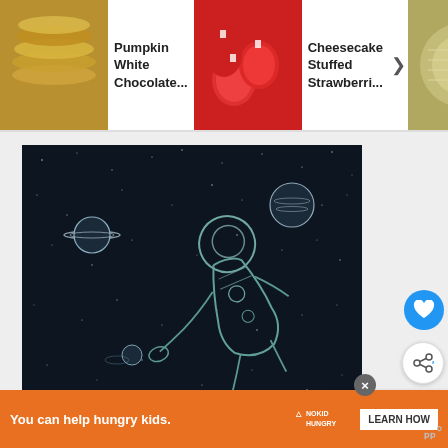[Figure (screenshot): Website screenshot showing a food recipe navigation bar at the top with three items: Pumpkin White Chocolate..., Cheesecake Stuffed Strawberri..., and White Chocolate Peppermi...]
[Figure (illustration): Dark space illustration showing an astronaut floating in space with planets including Saturn and a gas giant, and a comet, drawn in a sketch/line-art style on dark background]
[Figure (screenshot): What's Next panel showing White Chocolate... recipe thumbnail]
[Figure (screenshot): Advertisement banner: You can help hungry kids. No Kid Hungry. LEARN HOW]
Pumpkin White Chocolate...
Cheesecake Stuffed Strawberri...
White Chocolate Peppermi
WHAT'S NEXT →
White Chocolate...
You can help hungry kids.
LEARN HOW